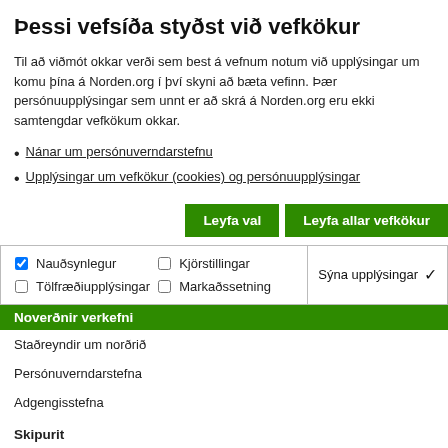Þessi vefsíða styðst við vefkökur
Til að viðmót okkar verði sem best á vefnum notum við upplýsingar um komu þína á Norden.org í því skyni að bæta vefinn. Þær persónuupplýsingar sem unnt er að skrá á Norden.org eru ekki samtengdar vefkökum okkar.
Nánar um persónuverndarstefnu
Upplýsingar um vefkökur (cookies) og persónuupplýsingar
Leyfa val | Leyfa allar vefkökur
| Nauðsynlegur | Kjörstillingar | Tölfræðiupplýsingar | Markaðssetning | Sýna upplýsingar |
| --- | --- | --- | --- | --- |
Noverðnir verkefni
Staðreyndir um norðrið
Persónuverndarstefna
Adgengisstefna
Skipurit
Norræna ráðherranefndin
Norðurlandaráð
Info Norden
Stofnanir